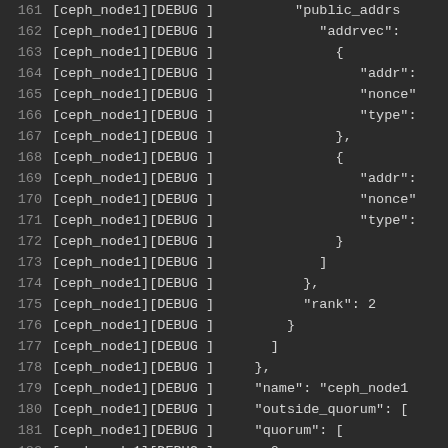[Figure (screenshot): Terminal/IDE output showing debug log lines 161-183 from ceph_node1, displaying JSON-like structured data with fields including public_addrs, addrvec, addr, nonce, type, rank, name, outside_quorum, quorum]